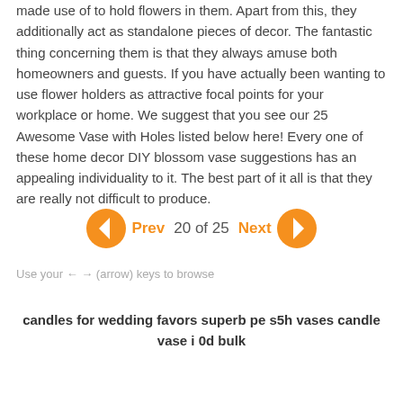made use of to hold flowers in them. Apart from this, they additionally act as standalone pieces of decor. The fantastic thing concerning them is that they always amuse both homeowners and guests. If you have actually been wanting to use flower holders as attractive focal points for your workplace or home. We suggest that you see our 25 Awesome Vase with Holes listed below here! Every one of these home decor DIY blossom vase suggestions has an appealing individuality to it. The best part of it all is that they are really not difficult to produce.
[Figure (other): Navigation bar with Prev and Next orange circle arrow buttons and page indicator '20 of 25']
Use your ← → (arrow) keys to browse
candles for wedding favors superb pe s5h vases candle vase i 0d bulk